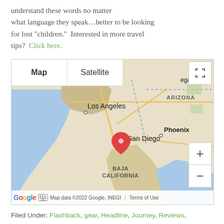understand these words no matter what language they speak...better to be looking for lost "children."  Interested in more travel tips?  Click here.
[Figure (map): Google Maps screenshot showing Southern California region including Los Angeles, San Diego (with red map pin), Phoenix, Arizona, and Baja California. Map view selected. Map data ©2022 Google, INEGI.]
Filed Under: Flashback, gear, Headline, Journey, Reviews,
Tagged With: gear, reviewsTravel Gear